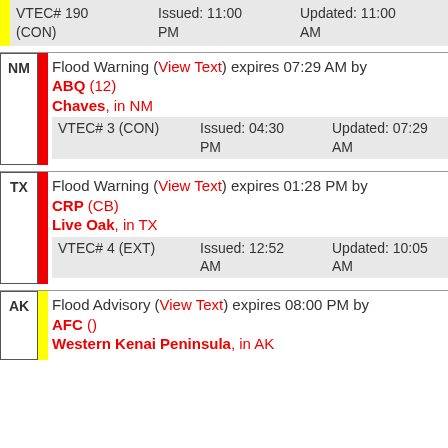| VTEC# | Issued | Updated |
| --- | --- | --- |
| VTEC# 190 (CON) | Issued: 11:00 PM | Updated: 11:00 AM |
| NM | Flood Warning (View Text) expires 07:29 AM by ABQ (12) |  |
|  | Chaves, in NM |  |
| VTEC# 3 (CON) | Issued: 04:30 PM | Updated: 07:29 AM |
| TX | Flood Warning (View Text) expires 01:28 PM by CRP (CB) |  |
|  | Live Oak, in TX |  |
| VTEC# 4 (EXT) | Issued: 12:52 AM | Updated: 10:05 AM |
| AK | Flood Advisory (View Text) expires 08:00 PM by AFC () |  |
|  | Western Kenai Peninsula, in AK |  |